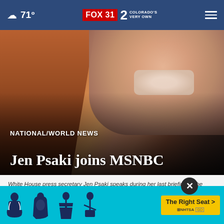☁ 71° | FOX 31 2 COLORADO'S VERY OWN
[Figure (photo): Close-up photo of a woman with red/auburn hair smiling, used as hero image for news article about Jen Psaki joining MSNBC]
NATIONAL/WORLD NEWS
Jen Psaki joins MSNBC
White House press secretary Jen Psaki speaks during her last briefing at the White House. (Susan Walsh/The Associated Press)
by: Dominick Mastrangelo, The Hill via Nexstar Media Wire
Posted Updated
[Figure (infographic): NHTSA 'The Right Seat' advertisement banner with car seat safety icons on cyan background with yellow CTA button]